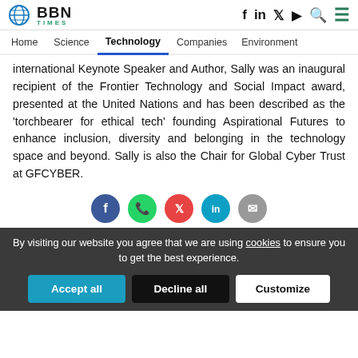BBN TIMES — Home | Science | Technology | Companies | Environment
international Keynote Speaker and Author, Sally was an inaugural recipient of the Frontier Technology and Social Impact award, presented at the United Nations and has been described as the 'torchbearer for ethical tech' founding Aspirational Futures to enhance inclusion, diversity and belonging in the technology space and beyond. Sally is also the Chair for Global Cyber Trust at GFCYBER.
[Figure (other): Social share buttons: Facebook, WhatsApp, Twitter/X, LinkedIn, Email]
By visiting our website you agree that we are using cookies to ensure you to get the best experience.
Accept all | Decline all | Customize